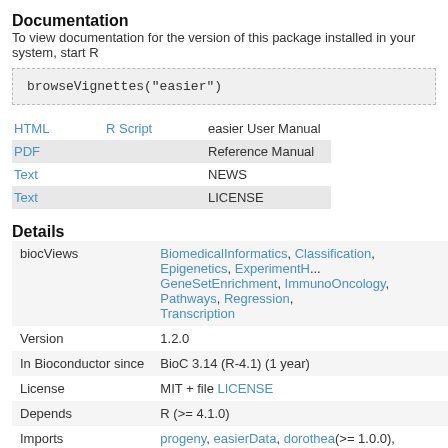Documentation
To view documentation for the version of this package installed in your system, start R
browseVignettes("easier")
|  |  |  |
| --- | --- | --- |
| HTML | R Script | easier User Manual |
| PDF |  | Reference Manual |
| Text |  | NEWS |
| Text |  | LICENSE |
Details
|  |  |
| --- | --- |
| biocViews | BiomedicalInformatics, Classification, Epigenetics, ExperimentH... GeneSetEnrichment, ImmunoOncology, Pathways, Regression, Transcription |
| Version | 1.2.0 |
| In Bioconductor since | BioC 3.14 (R-4.1) (1 year) |
| License | MIT + file LICENSE |
| Depends | R (>= 4.1.0) |
| Imports | progeny, easierData, dorothea(>= 1.0.0), quantiseqr, ROCR, gri... grid, DESeq2, utils, dplyr, matrixStats, rlang, arules, BiocParalle... |
| LinkingTo |  |